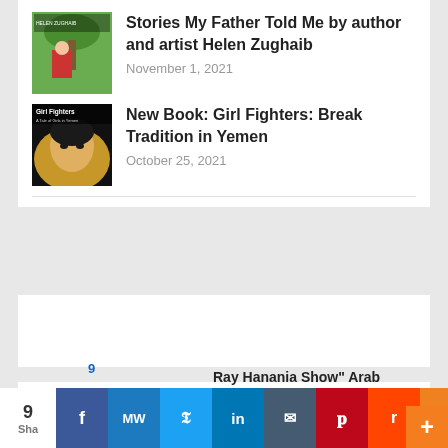Stories My Father Told Me by author and artist Helen Zughaib
November 1, 2021
New Book: Girl Fighters: Break Tradition in Yemen
October 25, 2021
ENTERTAINMENT
Ray Hanania Show" Arab